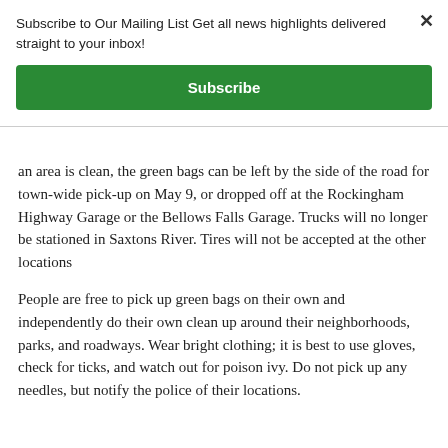Subscribe to Our Mailing List Get all news highlights delivered straight to your inbox!
[Figure (other): Green Subscribe button]
an area is clean, the green bags can be left by the side of the road for town-wide pick-up on May 9, or dropped off at the Rockingham Highway Garage or the Bellows Falls Garage. Trucks will no longer be stationed in Saxtons River. Tires will not be accepted at the other locations
People are free to pick up green bags on their own and independently do their own clean up around their neighborhoods, parks, and roadways. Wear bright clothing; it is best to use gloves, check for ticks, and watch out for poison ivy. Do not pick up any needles, but notify the police of their locations.